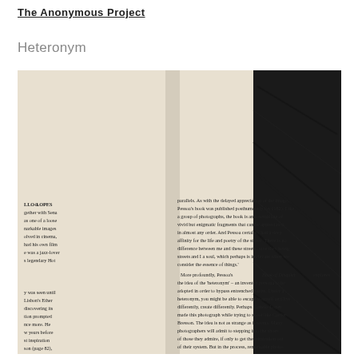The Anonymous Project
Heteronym
[Figure (photo): A photograph of an open book showing two columns of text. The left column references 'LLO-LOPES' and mentions cinema, jazz, and Lisbon's Ether. The right column discusses Pessoa's Book of Disquiet and the concept of 'heteronym' — an invented persona adopted to bypass entrenched habits, and reflections on authorship and influence. The right side of the image shows a dark, textured surface.]